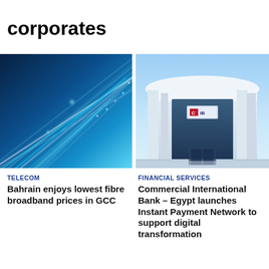corporates
[Figure (photo): Fiber optic cables glowing in blue and white light]
[Figure (photo): CIB (Commercial International Bank) modern office building exterior with logo]
TELECOM
Bahrain enjoys lowest fibre broadband prices in GCC
FINANCIAL SERVICES
Commercial International Bank – Egypt launches Instant Payment Network to support digital transformation